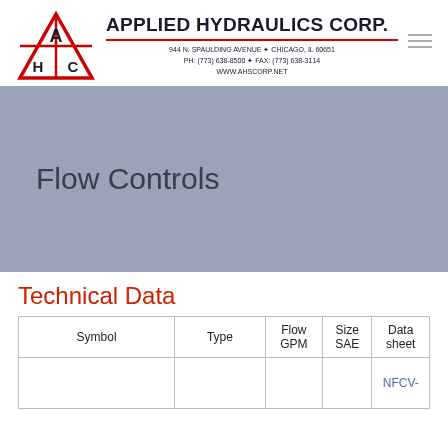APPLIED HYDRAULICS CORP. 944 N. SPAULDING AVENUE ✦ CHICAGO, IL 60651 PH: (773) 638-8500 ✦ FAX: (773) 638-3114 WWW.AHSCORP.NET
Flow Controls
Technical Data
| Symbol | Type | Flow GPM | Size SAE | Data sheet |
| --- | --- | --- | --- | --- |
|  |  |  |  | NFCV- |